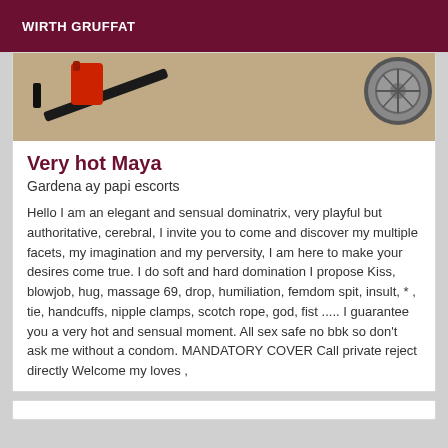WIRTH GRUFFAT
[Figure (photo): Partial photo showing dark objects, a red item, and a grey circular object on a beige/tan fabric background]
Very hot Maya
Gardena ay papi escorts
Hello I am an elegant and sensual dominatrix, very playful but authoritative, cerebral, I invite you to come and discover my multiple facets, my imagination and my perversity, I am here to make your desires come true. I do soft and hard domination I propose Kiss, blowjob, hug, massage 69, drop, humiliation, femdom spit, insult, * , tie, handcuffs, nipple clamps, scotch rope, god, fist ..... I guarantee you a very hot and sensual moment. All sex safe no bbk so don't ask me without a condom. MANDATORY COVER Call private reject directly Welcome my loves ,